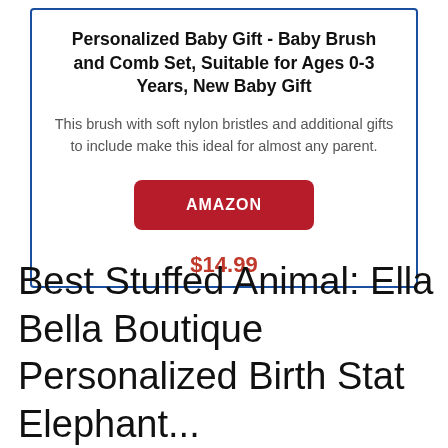Personalized Baby Gift - Baby Brush and Comb Set, Suitable for Ages 0-3 Years, New Baby Gift
This brush with soft nylon bristles and additional gifts to include make this ideal for almost any parent.
[Figure (other): Red button labeled AMAZON]
$14.99
Best Stuffed Animal: Ella Bella Boutique Personalized Birth Stat Elephant...